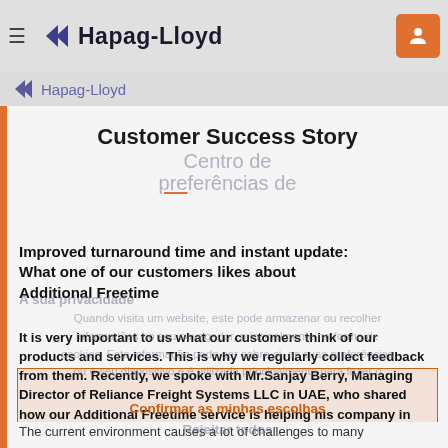Hapag-Lloyd (navigation bar with logo and hamburger menu)
Customer Success Story
Improved turnaround time and instant update: What one of our customers likes about Additional Freetime
It is very important to us what our customers think of our products and services. This is why we regularly collect feedback from them. Recently, we spoke with Mr.Sanjay Berry, Managing Director of Reliance Freight Systems LLC in UAE, who shared how our Additional Freetime service is helping his company in working more agile.
The current environment causes a lot of challenges to many